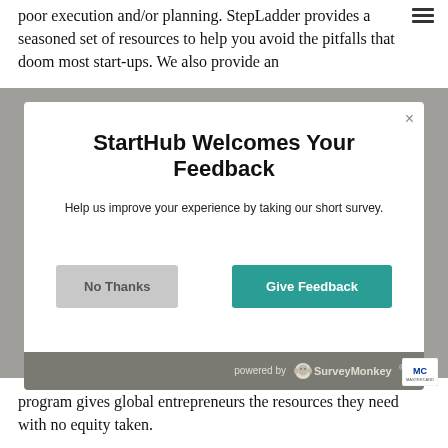poor execution and/or planning. StepLadder provides a seasoned set of resources to help you avoid the pitfalls that doom most start-ups. We also provide an
[Figure (screenshot): Modal dialog overlay with title 'StartHub Welcomes Your Feedback', subtitle 'Help us improve your experience by taking our short survey.', 'No Thanks' button and 'Give Feedback' button, powered by SurveyMonkey footer]
program gives global entrepreneurs the resources they need with no equity taken.